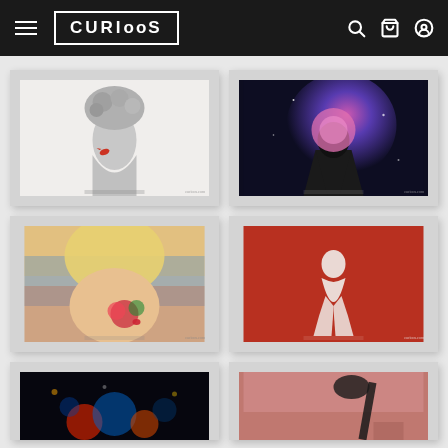CURIOSS navigation header with logo, hamburger menu, search, cart, and account icons
[Figure (photo): Framed art print: black and white photo of a woman with a large floral/fruit bouquet on her head, holding a colorful bird, sitting in a sparkly dress]
[Figure (photo): Framed art print: colorful digital art of a man in a suit from behind, face replaced by a vibrant galaxy/floral burst of pink and blue cosmic imagery]
[Figure (photo): Framed art print: photo of a blonde woman lying down, wearing floral accessories, colorful impressionistic background]
[Figure (photo): Framed art print: illustration on red background of a figure in white dress/outfit with flowing fabric]
[Figure (photo): Framed art print: dark abstract photo with colorful bokeh lights and orbs in blues and reds]
[Figure (photo): Framed art print: pink/mauve background with dark silhouette figure, partial view]